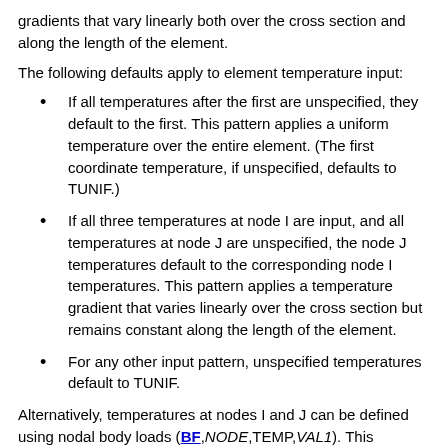gradients that vary linearly both over the cross section and along the length of the element.
The following defaults apply to element temperature input:
If all temperatures after the first are unspecified, they default to the first. This pattern applies a uniform temperature over the entire element. (The first coordinate temperature, if unspecified, defaults to TUNIF.)
If all three temperatures at node I are input, and all temperatures at node J are unspecified, the node J temperatures default to the corresponding node I temperatures. This pattern applies a temperature gradient that varies linearly over the cross section but remains constant along the length of the element.
For any other input pattern, unspecified temperatures default to TUNIF.
Alternatively, temperatures at nodes I and J can be defined using nodal body loads (BF,NODE,TEMP,VAL1). This specifies a uniform temperature over the cross section at the specified node. (BF command input is not accepted at node K.)